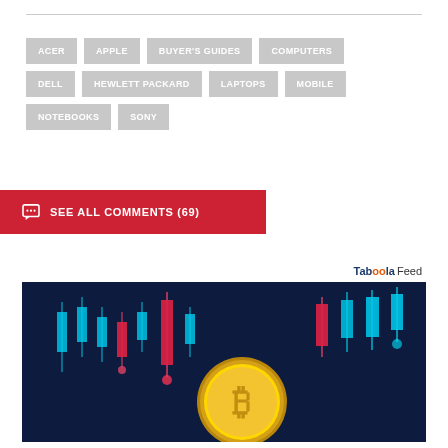ACER
APPLE
BUYER'S GUIDES
COMPUTERS
DELL
HEWLETT PACKARD
LAPTOPS
MOBILE
NOTEBOOKS
SONY
SEE ALL COMMENTS (69)
Taboola Feed
[Figure (photo): Bitcoin cryptocurrency coin against a dark blue background with candlestick chart trading data in red and cyan/blue lights]